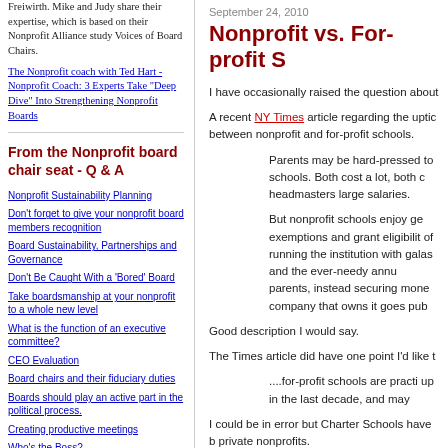Freiwirth. Mike and Judy share their expertise, which is based on their Nonprofit Alliance study Voices of Board Chairs.
The Nonprofit coach with Ted Hart - Nonprofit Coach: 3 Experts Take "Deep Dive" Into Strengthening Nonprofit Boards
From the Nonprofit board chair seat - Q & A
Nonprofit Sustainability Planning
Don't forget to give your nonprofit board members recognition
Board Sustainability, Partnerships and Governance
Don't Be Caught With a 'Bored' Board
Take boardsmanship at your nonprofit to a whole new level
What is the function of an executive committee?
CEO Evaluation
Board chairs and their fiduciary duties
Boards should play an active part in the political process.
Creating productive meetings
Who's the Boss?
September 24, 2010
Nonprofit vs. For-profit S
I have occasionally raised the question about
A recent NY Times article regarding the uptic between nonprofit and for-profit schools.
Parents may be hard-pressed to schools. Both cost a lot, both c headmasters large salaries.
But nonprofit schools enjoy ge exemptions and grant eligibilit of running the institution with galas and the ever-needy annu parents, instead securing mone company that owns it goes pub
Good description I would say.
The Times article did have one point I'd like t
....for-profit schools are practi up in the last decade, and may
I could be in error but Charter Schools have b private nonprofits.